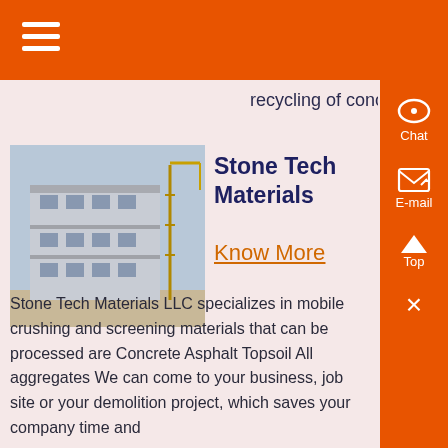recycling of concrete and ....
Stone Tech Materials
[Figure (photo): Construction site with a multi-story building under construction with scaffolding and a crane in the background]
Know More
Stone Tech Materials LLC specializes in mobile crushing and screening materials that can be processed are Concrete Asphalt Topsoil All aggregates We can come to your business, job site or your demolition project, which saves your company time and